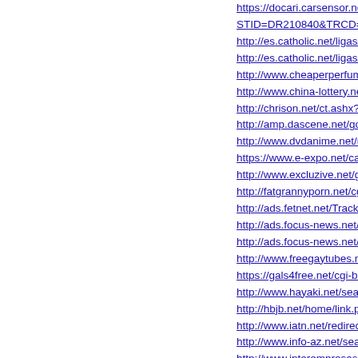https://docari.carsensor.net/cgi-bin/DFBG140.cgi?STID=DR210840&TRCD=TR301&BKKN=CU5785998292&SHOP=
http://es.catholic.net/ligas/ligasframe.phtml?liga=https://www.piyase
http://es.catholic.net/ligas/ligasframe.phtml?liga=https://www.piyase
http://www.cheaperperfumes.net/go.php?url=https://www.piyasen.c
http://www.china-lottery.net/Login/logout?return=https://www.piyase
http://chrison.net/ct.ashx?id=87da2194-b39e-45eb-bd5d-ac41697a
http://amp.dascene.net/golink.php?idx=69&url=https://www.piyasen
http://www.dvdanime.net/url.php?url=https://www.piyasen.com
https://www.e-expo.net/category/click_url.html?url=https://www.piya
http://www.excluzive.net/go.php?url=https://www.piyasen.com
http://fatgrannyporn.net/cgi-bin/atc/out.cgi?u=https://www.piyasen.c
http://ads.fetnet.net/TrackingLog/svc_TClick.aspx?IDS=950838,142
http://ads.focus-news.net/click.php?id=707&url=https://www.piyasen
http://ads.focus-news.net/click.php?id=707&url=https://www.piyasen
http://www.freegaytubes.net/cgi-bin/site/out.cgi?trade=https://www.p
https://gals4free.net/cgi-bin/atx/out.cgi?trade=https://www.piyasen.c
http://www.hayaki.net/search/rank.cgi?mode=link&id=553&url=https
http://hbjb.net/home/link.php?url=https://www.piyasen.com
http://www.iatn.net/redirect?url=https://www.piyasen.com
http://www.info-az.net/search/rank.cgi?mode=link&id=675&url=https
http://www.interempresas.net/estadisticas/r.asp?idsector=129&e=2
http://www.interempresas.net/estadisticas/r.asp?idsector=129&e=2
http://www.lhotka.net/weblog/ct.ashx?id=61527092-40ff-44e5-abca-
https://www.mastertgp.net/tgp/click.php?id=353693&u=https://www.
https://www.megavision.net/hitting.asp?id=1406&url=https://www.pi
http://i.mobilerz.net/jump.php?url=https://www.piyasen.com
http://sp.moero.net/out.html?id=kisspassn&go=https://www.piyase